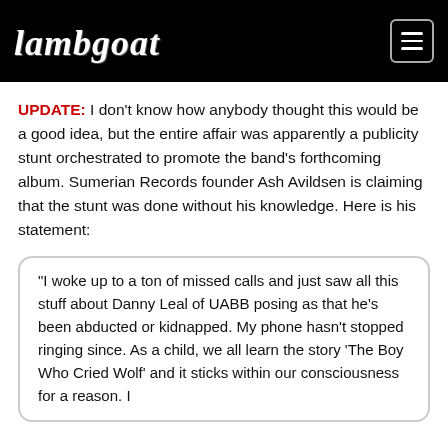Lambgoat
UPDATE: I don't know how anybody thought this would be a good idea, but the entire affair was apparently a publicity stunt orchestrated to promote the band's forthcoming album. Sumerian Records founder Ash Avildsen is claiming that the stunt was done without his knowledge. Here is his statement:
"I woke up to a ton of missed calls and just saw all this stuff about Danny Leal of UABB posing as that he's been abducted or kidnapped. My phone hasn't stopped ringing since. As a child, we all learn the story 'The Boy Who Cried Wolf' and it sticks within our consciousness for a reason. I